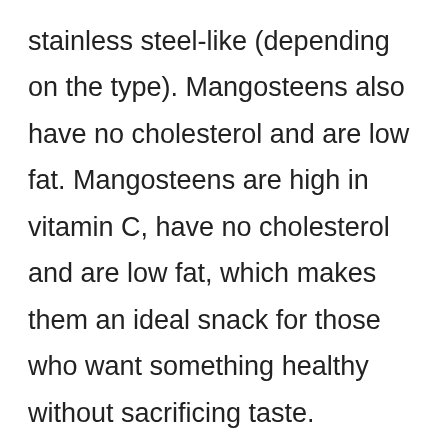stainless steel-like (depending on the type). Mangosteens also have no cholesterol and are low fat. Mangosteens are high in vitamin C, have no cholesterol and are low fat, which makes them an ideal snack for those who want something healthy without sacrificing taste. Perhaps one of the most unique characteristics about this fruit is that it is seedless! Mangosteens are a popular fruit, but they can be difficult to find due